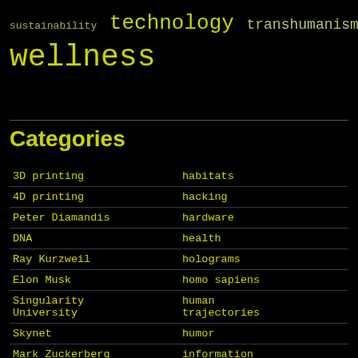[Figure (other): Tag cloud showing words: sustainability, technology, transhumanism, wellness in varying sizes and yellow-green colors on black background]
Categories
|  |  |
| --- | --- |
| 3D printing | habitats |
| 4D printing | hacking |
| Peter Diamandis | hardware |
| DNA | health |
| Ray Kurzweil | holograms |
| Elon Musk | homo sapiens |
| Singularity University | human trajectories |
| Skynet | humor |
| Mark Zuckerberg | information science |
| aging | innovation |
| alien life | internet |
| anti-gravity | journalism |
| architecture |  |